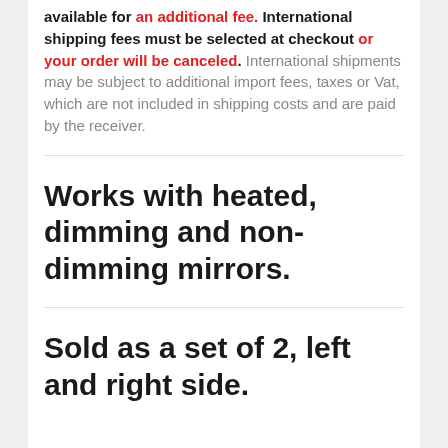available for an additional fee. International shipping fees must be selected at checkout or your order will be canceled. International shipments may be subject to additional import fees, taxes or Vat, which are not included in shipping costs and are paid by the receiver.
Works with heated, dimming and non-dimming mirrors.
Sold as a set of 2, left and right side.